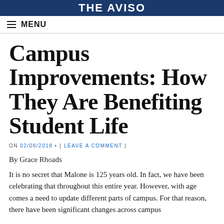The AVISO
MENU
Campus Improvements: How They Are Benefiting Student Life
ON 02/08/2018 • ( LEAVE A COMMENT )
By Grace Rhoads
It is no secret that Malone is 125 years old. In fact, we have been celebrating that throughout this entire year. However, with age comes a need to update different parts of campus. For that reason, there have been significant changes across campus